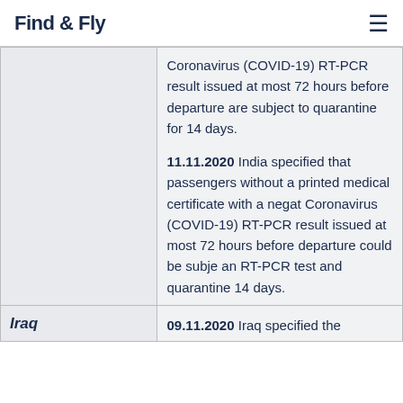Find & Fly
| Country | Information |
| --- | --- |
|  | Coronavirus (COVID-19) RT-PCR result issued at most 72 hours before departure are subject to quarantine for 14 days.

11.11.2020 India specified that passengers without a printed medical certificate with a negative Coronavirus (COVID-19) RT-PCR result issued at most 72 hours before departure could be subject to an RT-PCR test and quarantine for 14 days. |
| Iraq | 09.11.2020 Iraq specified the... |